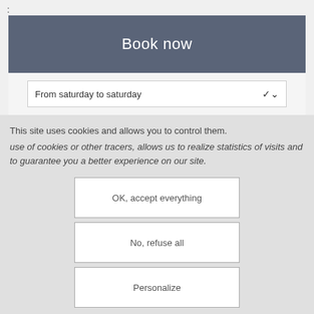:
Book now
From saturday to saturday
This site uses cookies and allows you to control them. use of cookies or other tracers, allows us to realize statistics of visits and to guarantee you a better experience on our site.
OK, accept everything
No, refuse all
Personalize